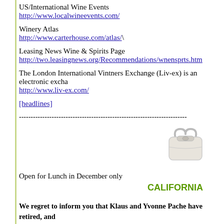US/International Wine Events
http://www.localwineevents.com/
Winery Atlas
http://www.carterhouse.com/atlas/\
Leasing News Wine & Spirits Page
http://two.leasingnews.org/Recommendations/wnensprts.htm
The London International Vintners Exchange (Liv-ex) is an electronic excha...
http://www.liv-ex.com/
[headlines]
------------------------------------------------------------------------
[Figure (illustration): Small illustration of a purse/handbag]
Open for Lunch in December only
CALIFORNIA
We regret to inform you that Klaus and Yvonne Pache have retired, and the manager, does not want to continue the restaurant operation with his... building were sold by the Pache's. Here is a recent article in the San F...